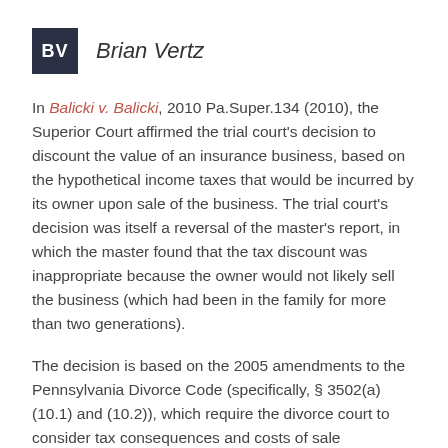BV   Brian Vertz
In Balicki v. Balicki, 2010 Pa.Super.134 (2010), the Superior Court affirmed the trial court's decision to discount the value of an insurance business, based on the hypothetical income taxes that would be incurred by its owner upon sale of the business. The trial court's decision was itself a reversal of the master's report, in which the master found that the tax discount was inappropriate because the owner would not likely sell the business (which had been in the family for more than two generations).
The decision is based on the 2005 amendments to the Pennsylvania Divorce Code (specifically, § 3502(a)(10.1) and (10.2)), which require the divorce court to consider tax consequences and costs of sale associated with marital assets, even if those taxes and costs are not imminent or